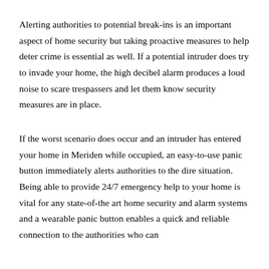Alerting authorities to potential break-ins is an important aspect of home security but taking proactive measures to help deter crime is essential as well. If a potential intruder does try to invade your home, the high decibel alarm produces a loud noise to scare trespassers and let them know security measures are in place.
If the worst scenario does occur and an intruder has entered your home in Meriden while occupied, an easy-to-use panic button immediately alerts authorities to the dire situation. Being able to provide 24/7 emergency help to your home is vital for any state-of-the art home security and alarm systems and a wearable panic button enables a quick and reliable connection to the authorities who can